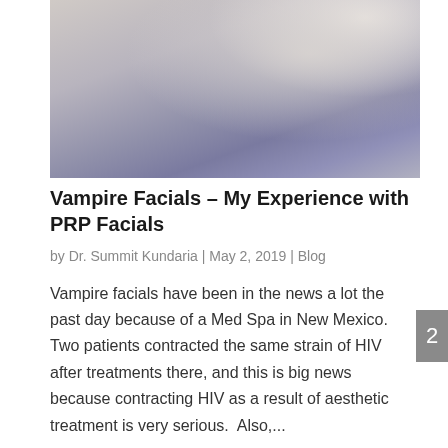[Figure (photo): A close-up photo of a draped fabric or medical/spa glove in muted beige and lavender tones, partially cropped at the top of the page]
Vampire Facials – My Experience with PRP Facials
by Dr. Summit Kundaria | May 2, 2019 | Blog
Vampire facials have been in the news a lot the past day because of a Med Spa in New Mexico.  Two patients contracted the same strain of HIV after treatments there, and this is big news because contracting HIV as a result of aesthetic treatment is very serious.  Also,...